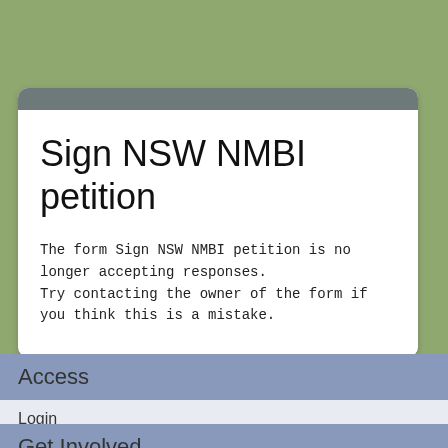Sign NSW NMBI petition
The form Sign NSW NMBI petition is no longer accepting responses.
Try contacting the owner of the form if you think this is a mistake.
Access
Login
Get Involved